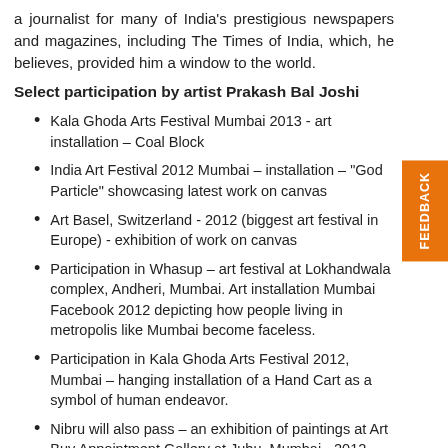a journalist for many of India's prestigious newspapers and magazines, including The Times of India, which, he believes, provided him a window to the world.
Select participation by artist Prakash Bal Joshi
Kala Ghoda Arts Festival Mumbai 2013 - art installation – Coal Block
India Art Festival 2012 Mumbai – installation – "God Particle" showcasing latest work on canvas
Art Basel, Switzerland - 2012 (biggest art festival in Europe) - exhibition of work on canvas
Participation in Whasup – art festival at Lokhandwala complex, Andheri, Mumbai. Art installation Mumbai Facebook 2012 depicting how people living in metropolis like Mumbai become faceless.
Participation in Kala Ghoda Arts Festival 2012, Mumbai – hanging installation of a Hand Cart as a symbol of human endeavor.
Nibru will also pass – an exhibition of paintings at Art Buy Appointment Gallery at Juhu, Mumbai - 2012
Participation in India Art Festival -2011, Nehru Centre in Mumbai
Worlds within World – Bajaj Art Gallery 2011 exhibition presented by Mumbai ARt Kollective (MARK)